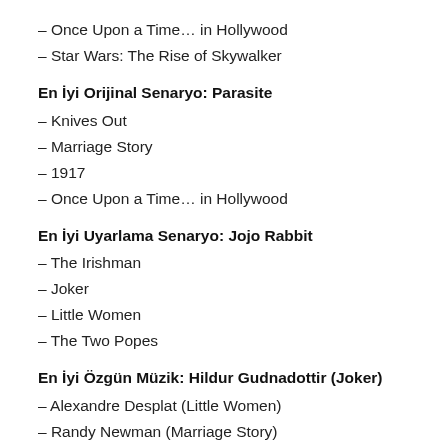– Once Upon a Time… in Hollywood
– Star Wars: The Rise of Skywalker
En İyi Orijinal Senaryo: Parasite
– Knives Out
– Marriage Story
– 1917
– Once Upon a Time… in Hollywood
En İyi Uyarlama Senaryo: Jojo Rabbit
– The Irishman
– Joker
– Little Women
– The Two Popes
En İyi Özgün Müzik: Hildur Gudnadottir (Joker)
– Alexandre Desplat (Little Women)
– Randy Newman (Marriage Story)
– Thomas Newman (1917)
– John Williams (Star Wars: The Rise of Skywalker)